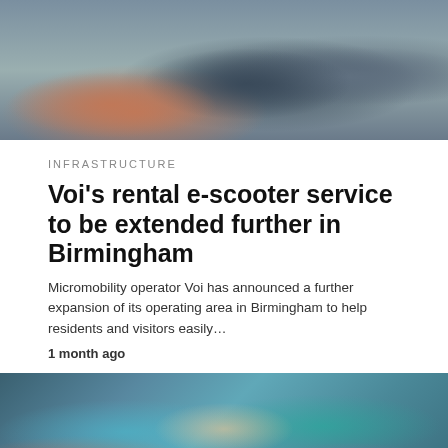[Figure (photo): Photo of people with e-scooters, showing handlebars and riders in casual clothing]
INFRASTRUCTURE
Voi's rental e-scooter service to be extended further in Birmingham
Micromobility operator Voi has announced a further expansion of its operating area in Birmingham to help residents and visitors easily…
1 month ago
[Figure (photo): Colorful street mural depicting a face with mosaic-like colorful pattern, teal and multicolored sections]